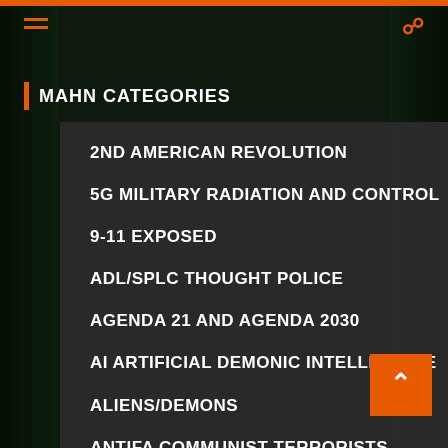MAHN CATEGORIES
2ND AMERICAN REVOLUTION
5G MILITARY RADIATION AND CONTROL
9-11 EXPOSED
ADL/SPLC THOUGHT POLICE
AGENDA 21 AND AGENDA 2030
AI ARTIFICIAL DEMONIC INTELLIGENCE
ALIENS/DEMONS
ANTIFA COMMUNIST TERRORISTS
AUTISM FROM VACCINES
BIG PHARMA WAR CRIMINALS
BIG TECH SPYING AND CENSORSHIP
BILDERBERG
BIOTECH AND SCIENCE EUGENICS BIO